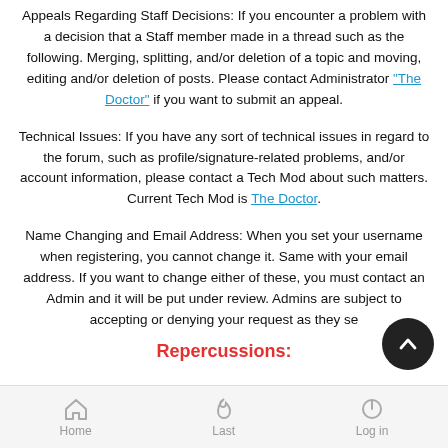Appeals Regarding Staff Decisions: If you encounter a problem with a decision that a Staff member made in a thread such as the following. Merging, splitting, and/or deletion of a topic and moving, editing and/or deletion of posts. Please contact Administrator "The Doctor" if you want to submit an appeal.
Technical Issues: If you have any sort of technical issues in regard to the forum, such as profile/signature-related problems, and/or account information, please contact a Tech Mod about such matters. Current Tech Mod is The Doctor.
Name Changing and Email Address: When you set your username when registering, you cannot change it. Same with your email address. If you want to change either of these, you must contact an Admin and it will be put under review. Admins are subject to accepting or denying your request as they se
Repercussions:
Home   Last   Log in